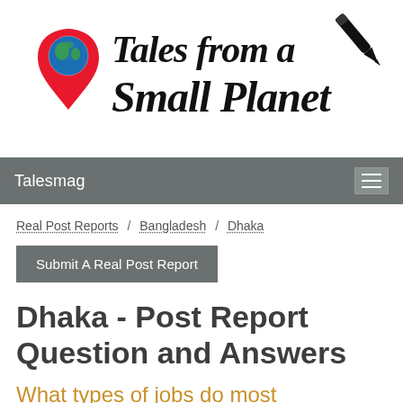[Figure (logo): Tales from a Small Planet logo with globe map pin icon on left and fountain pen icon on right, script text 'Tales from a Small Planet' in center]
Talesmag
Real Post Reports / Bangladesh / Dhaka
Submit A Real Post Report
Dhaka - Post Report Question and Answers
What types of jobs do most expatriate spouses/partners have?